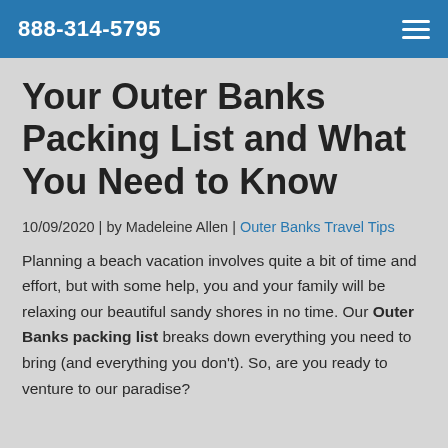888-314-5795
Your Outer Banks Packing List and What You Need to Know
10/09/2020 | by Madeleine Allen | Outer Banks Travel Tips
Planning a beach vacation involves quite a bit of time and effort, but with some help, you and your family will be relaxing our beautiful sandy shores in no time. Our Outer Banks packing list breaks down everything you need to bring (and everything you don't). So, are you ready to venture to our paradise?